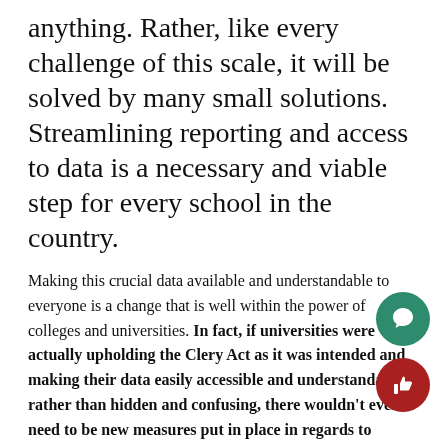anything. Rather, like every challenge of this scale, it will be solved by many small solutions. Streamlining reporting and access to data is a necessary and viable step for every school in the country.
Making this crucial data available and understandable to everyone is a change that is well within the power of colleges and universities. In fact, if universities were actually upholding the Clery Act as it was intended and making their data easily accessible and understandable rather than hidden and confusing, there wouldn't even need to be new measures put in place in regards to transparency.
However, this is just one factor that could bring drastic improvements. As Malinowski said, "I also think we need stricter punishment for sexual assault offenses because as it